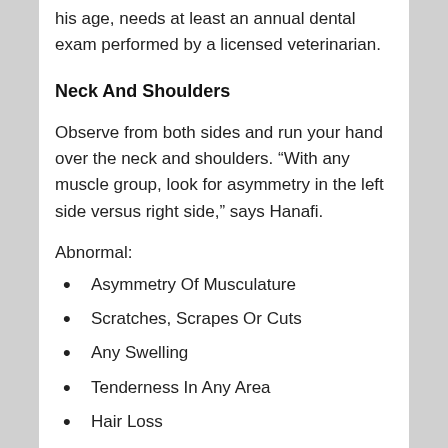his age, needs at least an annual dental exam performed by a licensed veterinarian.
Neck And Shoulders
Observe from both sides and run your hand over the neck and shoulders. “With any muscle group, look for asymmetry in the left side versus right side,” says Hanafi.
Abnormal:
Asymmetry Of Musculature
Scratches, Scrapes Or Cuts
Any Swelling
Tenderness In Any Area
Hair Loss